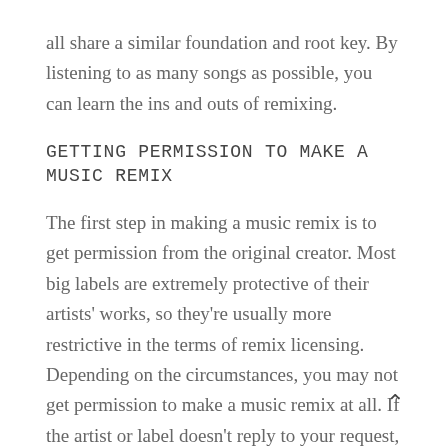all share a similar foundation and root key. By listening to as many songs as possible, you can learn the ins and outs of remixing.
Getting permission to make a music remix
The first step in making a music remix is to get permission from the original creator. Most big labels are extremely protective of their artists' works, so they're usually more restrictive in the terms of remix licensing. Depending on the circumstances, you may not get permission to make a music remix at all. If the artist or label doesn't reply to your request, they might also refuse your remix request. Getting permission to make a music remix is essential if you want to legally remix a track, although you're unlikely